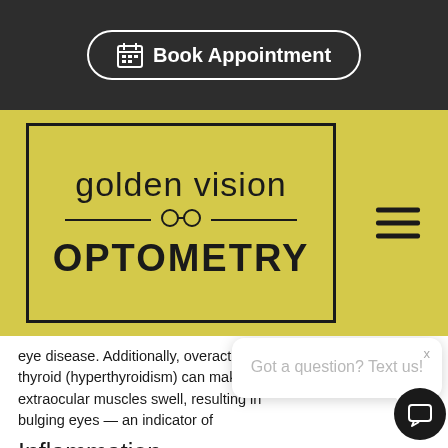[Figure (screenshot): Book Appointment button with calendar icon on dark background header bar]
[Figure (logo): Golden Vision Optometry logo with glasses icon on yellow background]
eye disease. Additionally, overactive thyroid (hyperthyroidism) can make the extraocular muscles swell, resulting in bulging eyes — an indicator of
Inflammation
Systemic conditions that are associated with inflammation in the body can have an inflammatory effect on the eyes. Uveitis, for example, causes eye inflammation, redness, and blurred vision and tends to occur in people with lupus, rheumatoid arthritis, and other autoimmune diseases.
[Figure (screenshot): Chat bubble popup with text 'Got a question? Text us!' and a dark chat circle button]